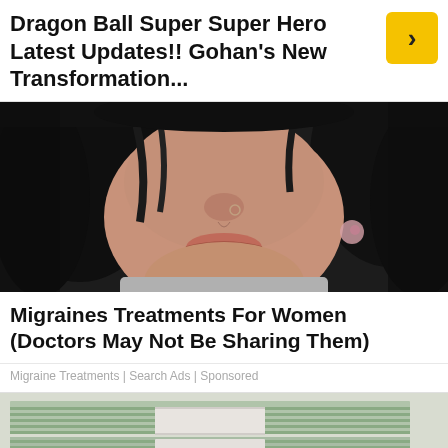Dragon Ball Super Super Hero Latest Updates!! Gohan's New Transformation...
[Figure (photo): Close-up photo of a woman's face showing her nose (with nose ring), lips, and dark hair. She is wearing floral earrings and a gray top.]
Migraines Treatments For Women (Doctors May Not Be Sharing Them)
Migraine Treatments | Search Ads | Sponsored
[Figure (photo): Photo of stacked bundles of US $100 dollar bills banded together, with a large stack visible and partial view of individual bills showing Federal Reserve Note text and serial number MB 91050749 N B2.]